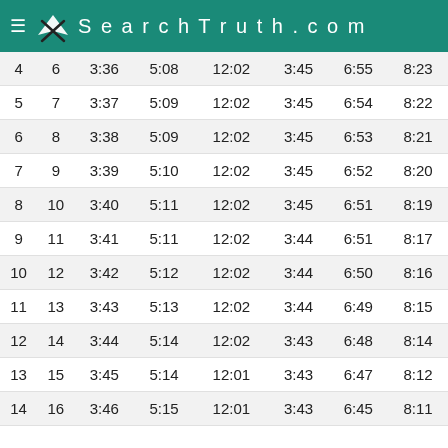SearchTruth.com
| 4 | 6 | 3:36 | 5:08 | 12:02 | 3:45 | 6:55 | 8:23 |
| 5 | 7 | 3:37 | 5:09 | 12:02 | 3:45 | 6:54 | 8:22 |
| 6 | 8 | 3:38 | 5:09 | 12:02 | 3:45 | 6:53 | 8:21 |
| 7 | 9 | 3:39 | 5:10 | 12:02 | 3:45 | 6:52 | 8:20 |
| 8 | 10 | 3:40 | 5:11 | 12:02 | 3:45 | 6:51 | 8:19 |
| 9 | 11 | 3:41 | 5:11 | 12:02 | 3:44 | 6:51 | 8:17 |
| 10 | 12 | 3:42 | 5:12 | 12:02 | 3:44 | 6:50 | 8:16 |
| 11 | 13 | 3:43 | 5:13 | 12:02 | 3:44 | 6:49 | 8:15 |
| 12 | 14 | 3:44 | 5:14 | 12:02 | 3:43 | 6:48 | 8:14 |
| 13 | 15 | 3:45 | 5:14 | 12:01 | 3:43 | 6:47 | 8:12 |
| 14 | 16 | 3:46 | 5:15 | 12:01 | 3:43 | 6:45 | 8:11 |